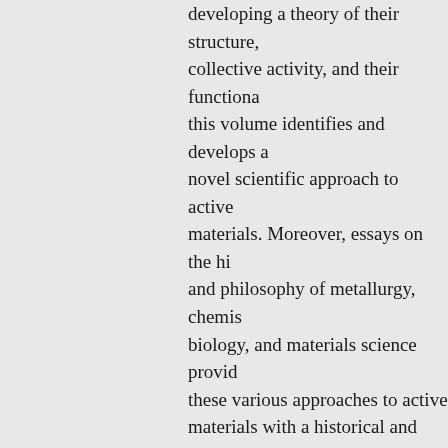developing a theory of their structure, collective activity, and their functional properties, this volume identifies and develops a novel scientific approach to active materials. Moreover, essays on the history and philosophy of metallurgy, chemistry, biology, and materials science provide these various approaches to active materials with a historical and cultural context. The interviews with experts from the natural sciences included in this volume develop new understandings of 'active matter' and active materials in relation to a range of research objects from the perspective of different scientific disciplines, including biology, physics, chemistry, and materials science. The insights are complemented by contributions on the activity of matter from the perspective of the